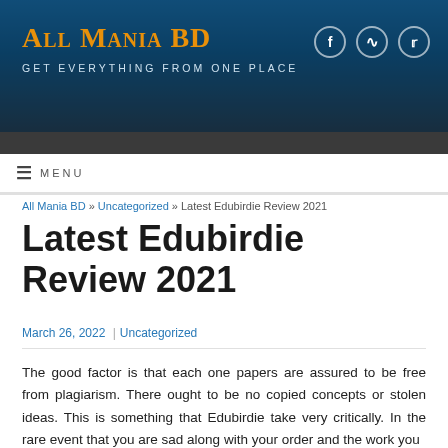ALL MANIA BD – GET EVERYTHING FROM ONE PLACE
MENU
All Mania BD » Uncategorized » Latest Edubirdie Review 2021
Latest Edubirdie Review 2021
March 26, 2022 | Uncategorized
The good factor is that each one papers are assured to be free from plagiarism. There ought to be no copied concepts or stolen ideas. This is something that Edubirdie take very critically. In the rare event that you are sad along with your order and the work you